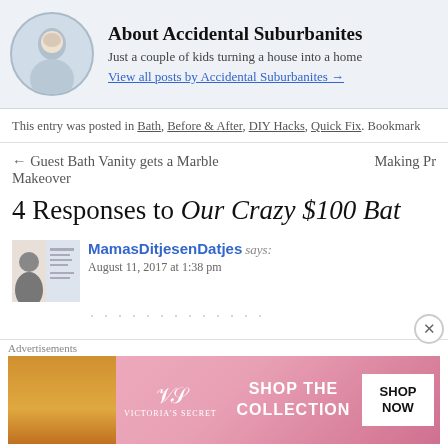[Figure (other): Author avatar circle photo with person in white]
About Accidental Suburbanites
Just a couple of kids turning a house into a home
View all posts by Accidental Suburbanites →
This entry was posted in Bath, Before & After, DIY Hacks, Quick Fix. Bookmark
← Guest Bath Vanity gets a Marble Makeover
Making Pr
4 Responses to Our Crazy $100 Bat
[Figure (photo): Comment avatar with person silhouette and document image]
MamasDitjesenDatjes says:
August 11, 2017 at 1:38 pm
[Figure (other): Victoria's Secret advertisement banner]
Advertisements